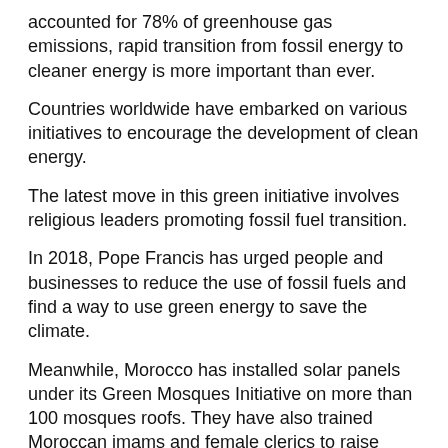accounted for 78% of greenhouse gas emissions, rapid transition from fossil energy to cleaner energy is more important than ever.
Countries worldwide have embarked on various initiatives to encourage the development of clean energy.
The latest move in this green initiative involves religious leaders promoting fossil fuel transition.
In 2018, Pope Francis has urged people and businesses to reduce the use of fossil fuels and find a way to use green energy to save the climate.
Meanwhile, Morocco has installed solar panels under its Green Mosques Initiative on more than 100 mosques roofs. They have also trained Moroccan imams and female clerics to raise awareness of sustainability energy
Following Morocco's step, the Indonesian government involves clerics and religious organisations to promote green energy in the country where nearly 90% of its 270 million population are Muslims.
Muslim clerics can help educate the community